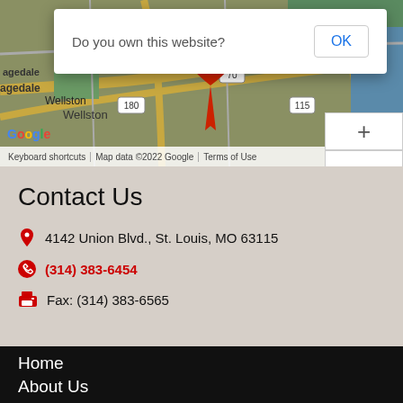[Figure (screenshot): Google Maps screenshot showing St. Louis area with location pin, featuring a browser dialog overlay asking 'Do you own this website?' with an OK button. Shows O'Fallon Park, Wellston, McKinley Bridge labels and zoom controls.]
Contact Us
4142 Union Blvd., St. Louis, MO 63115
(314) 383-6454
Fax: (314) 383-6565
Home
About Us
Testimonials
Success Stories